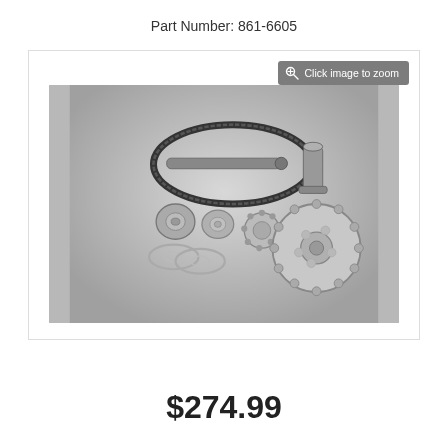Part Number: 861-6605
[Figure (photo): Black and white product photo showing a timing belt kit with components including a toothed timing belt, a long bolt/rod, a cylindrical bushing, two round bushings/spacers, two washers/shims, a small sprocket, and a large toothed pulley/sprocket wheel, all laid out on a light gray surface.]
$274.99